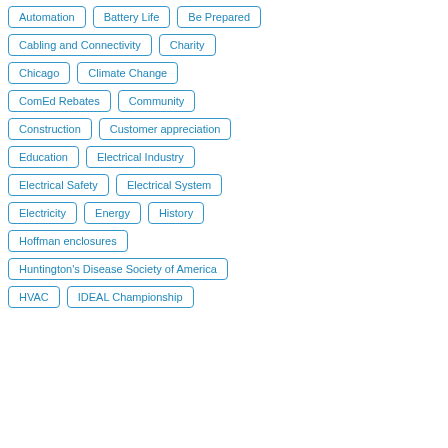Automation
Battery Life
Be Prepared
Cabling and Connectivity
Charity
Chicago
Climate Change
ComEd Rebates
Community
Construction
Customer appreciation
Education
Electrical Industry
Electrical Safety
Electrical System
Electricity
Energy
History
Hoffman enclosures
Huntington's Disease Society of America
HVAC
IDEAL Championship